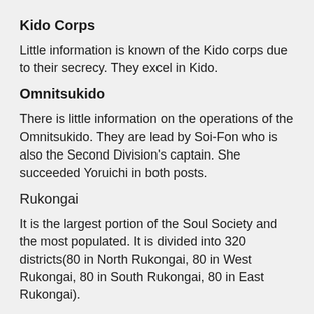Kido Corps
Little information is known of the Kido corps due to their secrecy. They excel in Kido.
Omnitsukido
There is little information on the operations of the Omnitsukido. They are lead by Soi-Fon who is also the Second Division's captain. She succeeded Yoruichi in both posts.
Rukongai
It is the largest portion of the Soul Society and the most populated. It is divided into 320 districts(80 in North Rukongai, 80 in West Rukongai, 80 in South Rukongai, 80 in East Rukongai).
Sereitei